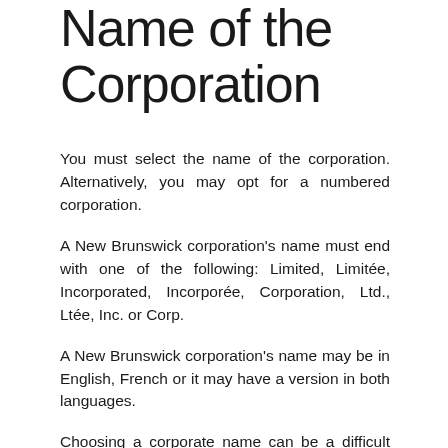Name of the Corporation
You must select the name of the corporation. Alternatively, you may opt for a numbered corporation.
A New Brunswick corporation’s name must end with one of the following: Limited, Limitée, Incorporated, Incorporée, Corporation, Ltd., Ltée, Inc. or Corp.
A New Brunswick corporation’s name may be in English, French or it may have a version in both languages.
Choosing a corporate name can be a difficult task. To increase the chances of your proposed name being accepted, try to select a name that is as distinct as possible, yet accurately describes your business. If your proposed corporate name